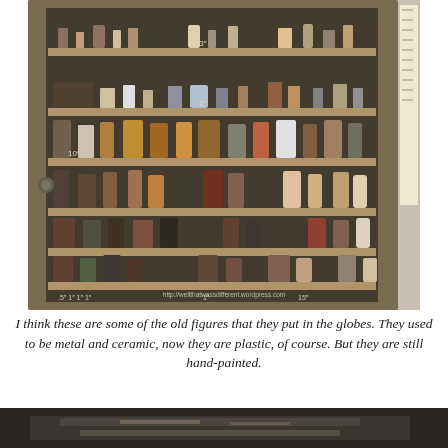[Figure (photo): A wooden display cabinet with glass front containing multiple shelves filled with small figurines, collectibles and miniature objects. Shelves are labeled with measurements like 1", 2", 3", 10", 15". A watermark reads http://wellthatwassdifferent.wordpress.com]
I think these are some of the old figures that they put in the globes. They used to be metal and ceramic, now they are plastic, of course. But they are still hand-painted.
[Figure (photo): Close-up photo of what appears to be a wooden box or tray, partially visible, with dark interior, showing the bottom portion of the page.]